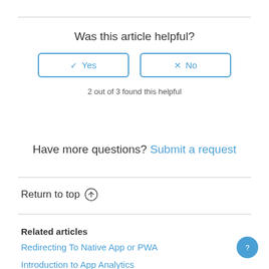Was this article helpful?
2 out of 3 found this helpful
Have more questions? Submit a request
Return to top ↑
Related articles
Redirecting To Native App or PWA
Introduction to App Analytics